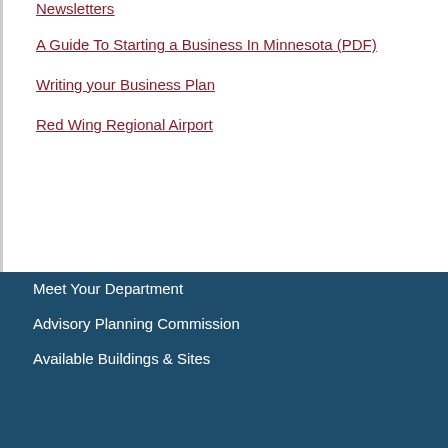Newsletters
A Guide To Starting a Business In Minnesota (PDF)
Writing your Business Plan
Red Wing Regional Airport
Meet Your Department
Advisory Planning Commission
Available Buildings & Sites